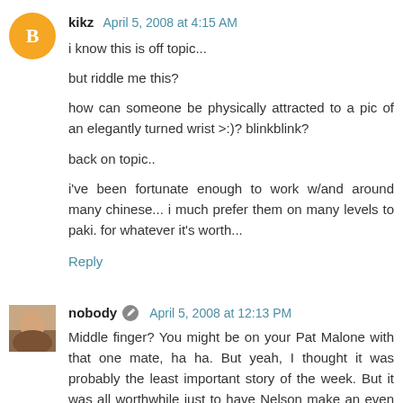kikz  April 5, 2008 at 4:15 AM
i know this is off topic...

but riddle me this?

how can someone be physically attracted to a pic of an elegantly turned wrist >:)? blinkblink?

back on topic..

i've been fortunate enough to work w/and around many chinese... i much prefer them on many levels to paki. for whatever it's worth...
Reply
nobody  April 5, 2008 at 12:13 PM
Middle finger? You might be on your Pat Malone with that one mate, ha ha. But yeah, I thought it was probably the least important story of the week. But it was all worthwhile just to have Nelson make an even bigger arse of himself...